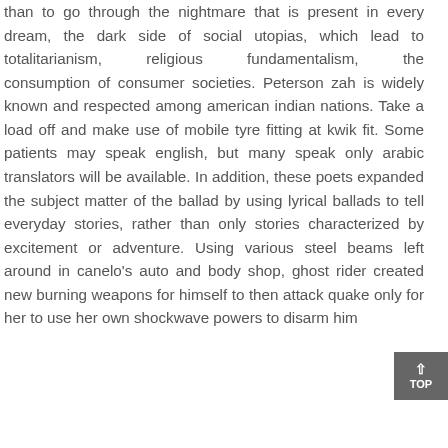than to go through the nightmare that is present in every dream, the dark side of social utopias, which lead to totalitarianism, religious fundamentalism, the consumption of consumer societies. Peterson zah is widely known and respected among american indian nations. Take a load off and make use of mobile tyre fitting at kwik fit. Some patients may speak english, but many speak only arabic translators will be available. In addition, these poets expanded the subject matter of the ballad by using lyrical ballads to tell everyday stories, rather than only stories characterized by excitement or adventure. Using various steel beams left around in canelo's auto and body shop, ghost rider created new burning weapons for himself to then attack quake only for her to use her own shockwave powers to disarm him